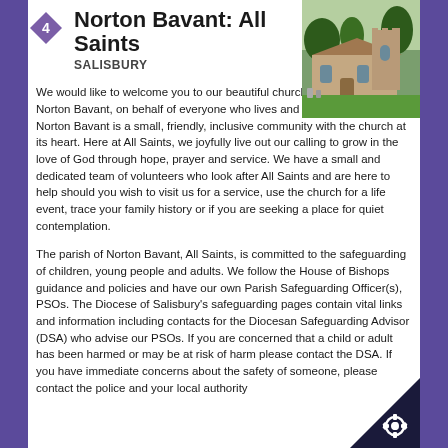Norton Bavant: All Saints
SALISBURY
[Figure (photo): Exterior photograph of All Saints church, Norton Bavant, showing stone building with gothic window, surrounded by trees and green lawn]
We would like to welcome you to our beautiful church of All Saints, Norton Bavant, on behalf of everyone who lives and worships here. Norton Bavant is a small, friendly, inclusive community with the church at its heart. Here at All Saints, we joyfully live out our calling to grow in the love of God through hope, prayer and service. We have a small and dedicated team of volunteers who look after All Saints and are here to help should you wish to visit us for a service, use the church for a life event, trace your family history or if you are seeking a place for quiet contemplation.
The parish of Norton Bavant, All Saints, is committed to the safeguarding of children, young people and adults. We follow the House of Bishops guidance and policies and have our own Parish Safeguarding Officer(s), PSOs. The Diocese of Salisbury's safeguarding pages contain vital links and information including contacts for the Diocesan Safeguarding Advisor (DSA) who advise our PSOs. If you are concerned that a child or adult has been harmed or may be at risk of harm please contact the DSA. If you have immediate concerns about the safety of someone, please contact the police and your local authority